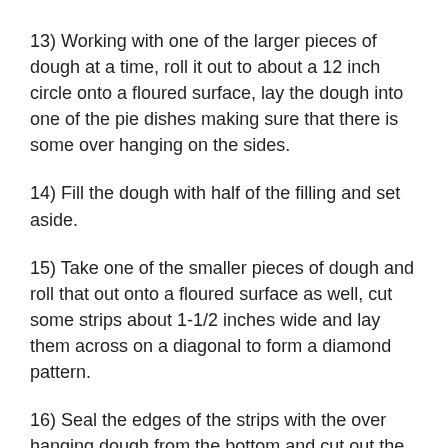13) Working with one of the larger pieces of dough at a time, roll it out to about a 12 inch circle onto a floured surface, lay the dough into one of the pie dishes making sure that there is some over hanging on the sides.
14) Fill the dough with half of the filling and set aside.
15) Take one of the smaller pieces of dough and roll that out onto a floured surface as well, cut some strips about 1-1/2 inches wide and lay them across on a diagonal to form a diamond pattern.
16) Seal the edges of the strips with the over hanging dough from the bottom and cut out the excess dough. Place the completed pie on a baking sheet and repeat the same process with the other one.
17) Bake the pies for about 1 hour and 15 minutes or slightly longer, you're looking for the filling to be set and the crust to be golden brown. If the edges start to brown too quickly, cover them